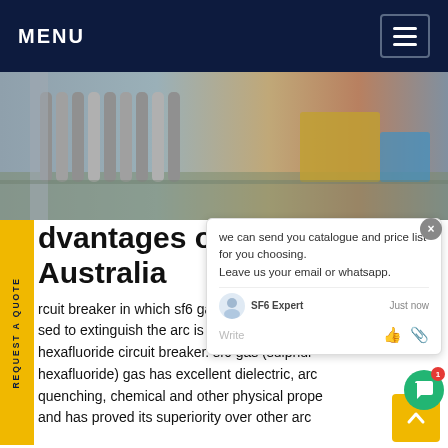MENU
[Figure (photo): Industrial gas cylinders stored at a facility with equipment and storage containers visible in the background.]
Advantages of SF6 circuit breaker in Australia
A circuit breaker in which sf6 gas under pressure gas is used to extinguish the arc is called Sulfr hexafluoride circuit breaker. sf6 gas (sulphur hexafluoride) gas has excellent dielectric, arc quenching, chemical and other physical properties and has proved its superiority over other arc...